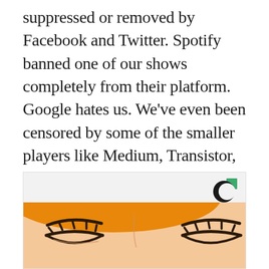suppressed or removed by Facebook and Twitter. Spotify banned one of our shows completely from their platform. Google hates us. We've even been censored by some of the smaller players like Medium, Transistor, and Captivate. But we stand behind our reporting and perspectives and we refuse to bow down to Big Tech tyranny for the sake of pageviews or video plays.
[Figure (illustration): Comic-style illustration showing a close-up of a face with eyes closed, with a logo (circular C with green square accent) in the upper right corner of the image frame.]